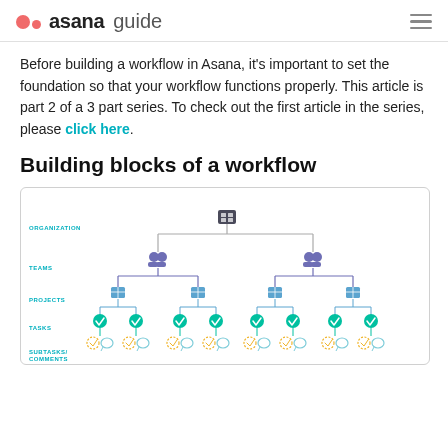asana guide
Before building a workflow in Asana, it's important to set the foundation so that your workflow functions properly. This article is part 2 of a 3 part series. To check out the first article in the series, please click here.
Building blocks of a workflow
[Figure (flowchart): Organizational hierarchy diagram showing Asana workflow structure: Organization at top, branching to Teams, then Projects, Tasks, Subtasks/Comments. Uses colored icons: dark square for Organization, purple people icons for Teams, blue grid icons for Projects, teal checkmark circles for Tasks, yellow circles for Subtasks/Comments.]